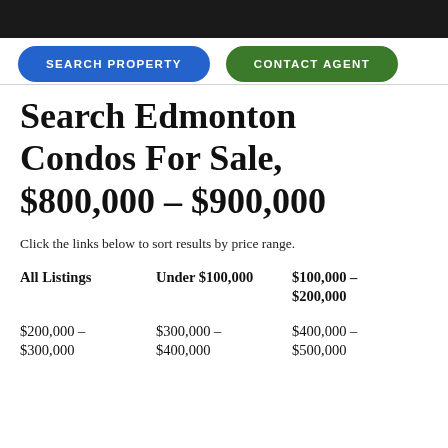SEARCH PROPERTY
CONTACT AGENT
Search Edmonton Condos For Sale, $800,000 – $900,000
Click the links below to sort results by price range.
| All Listings | Under $100,000 | $100,000 –
$200,000 |
| $200,000 –
$300,000 | $300,000 –
$400,000 | $400,000 –
$500,000 |